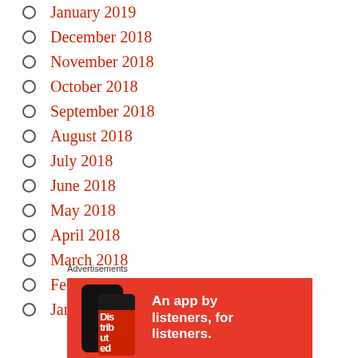January 2019
December 2018
November 2018
October 2018
September 2018
August 2018
July 2018
June 2018
May 2018
April 2018
March 2018
February 2018
January 2018
Advertisements
[Figure (illustration): Advertisement banner with red background showing a smartphone with 'Distributed' app screen and white bold text: 'An app by listeners, for listeners.']